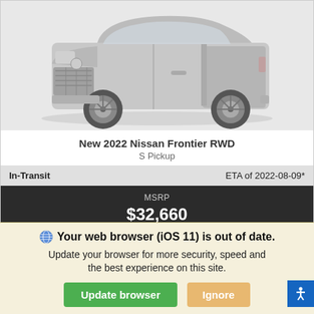[Figure (photo): Photo of a Nissan Frontier RWD pickup truck, front three-quarter view, light gray color on white background]
New 2022 Nissan Frontier RWD
S Pickup
| In-Transit | ETA of 2022-08-09* |
| --- | --- |
MSRP
$32,660
View All Vehicle Details
Your web browser (iOS 11) is out of date. Update your browser for more security, speed and the best experience on this site.
Update browser
Ignore